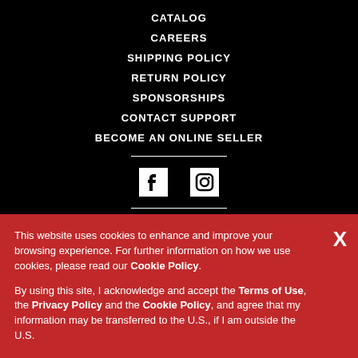CATALOG
CAREERS
SHIPPING POLICY
RETURN POLICY
SPONSORSHIPS
CONTACT SUPPORT
BECOME AN ONLINE SELLER
[Figure (illustration): Facebook and Instagram social media icons in white on black background]
PRIVACY POLICY
This website uses cookies to enhance and improve your browsing experience. For further information on how we use cookies, please read our Cookie Policy.

By using this site, I acknowledge and accept the Terms of Use, the Privacy Policy and the Cookie Policy, and agree that my information may be transferred to the U.S., if I am outside the U.S.